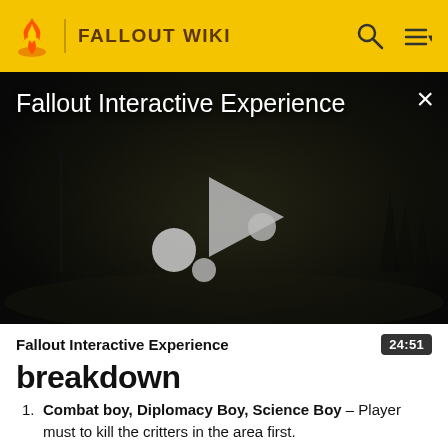FALLOUT WIKI
[Figure (screenshot): Dark post-apocalyptic video player showing 'Fallout Interactive Experience' title with play button controls on a dark foggy landscape background with a close (X) button in top right corner]
Fallout Interactive Experience  24:51
breakdown
Combat boy, Diplomacy Boy, Science Boy – Player must to kill the critters in the area first.